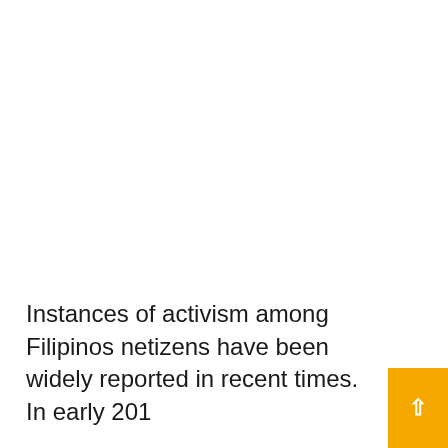Instances of activism among Filipinos netizens have been widely reported in recent times. In early 201